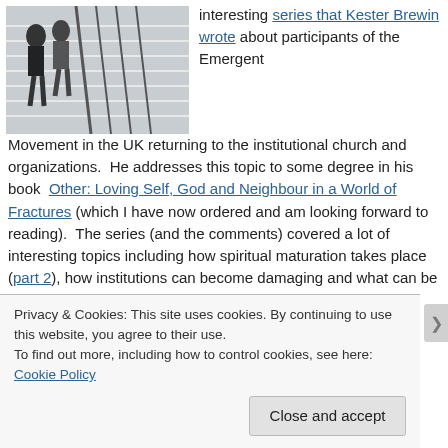[Figure (photo): Black and white photo of people walking up snow-dusted or salt-covered outdoor steps with metal railings.]
interesting series that Kester Brewin wrote about participants of the Emergent Movement in the UK returning to the institutional church and organizations.  He addresses this topic to some degree in his book  Other: Loving Self, God and Neighbour in a World of Fractures (which I have now ordered and am looking forward to reading).  The series (and the comments) covered a lot of interesting topics including how spiritual maturation takes place (part 2), how institutions can become damaging and what can be done to counteract that (part 3). some  info
Privacy & Cookies: This site uses cookies. By continuing to use this website, you agree to their use.
To find out more, including how to control cookies, see here: Cookie Policy